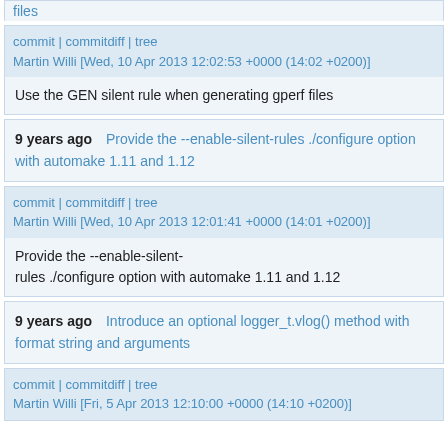files
commit | commitdiff | tree
Martin Willi [Wed, 10 Apr 2013 12:02:53 +0000 (14:02 +0200)]
Use the GEN silent rule when generating gperf files
9 years ago   Provide the --enable-silent-rules ./configure option with automake 1.11 and 1.12
commit | commitdiff | tree
Martin Willi [Wed, 10 Apr 2013 12:01:41 +0000 (14:01 +0200)]
Provide the --enable-silent-rules ./configure option with automake 1.11 and 1.12
9 years ago   Introduce an optional logger_t.vlog() method with format string and arguments
commit | commitdiff | tree
Martin Willi [Fri, 5 Apr 2013 12:10:00 +0000 (14:10 +0200)]